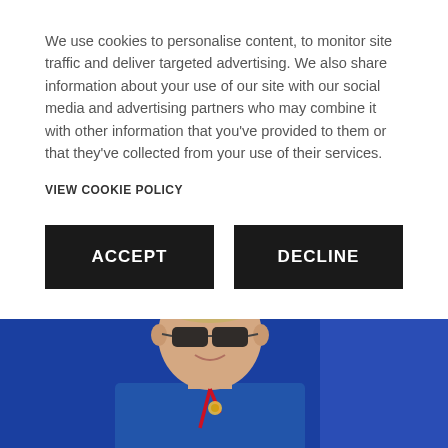We use cookies to personalise content, to monitor site traffic and deliver targeted advertising. We also share information about your use of our site with our social media and advertising partners who may combine it with other information that you've provided to them or that they've collected from your use of their services.
VIEW COOKIE POLICY
ACCEPT
DECLINE
[Figure (photo): Man with blonde hair wearing sunglasses, a blue t-shirt with a small badge/logo, and a red lanyard, standing in front of a blue background.]